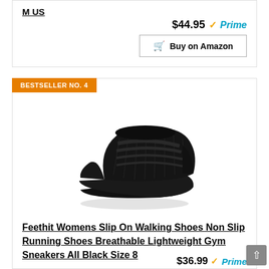M US
$44.95 Prime
Buy on Amazon
BESTSELLER NO. 4
[Figure (photo): Black athletic slip-on running sneaker, Feethit brand, shown at an angle on a white background]
Feethit Womens Slip On Walking Shoes Non Slip Running Shoes Breathable Lightweight Gym Sneakers All Black Size 8
$36.99 Prime